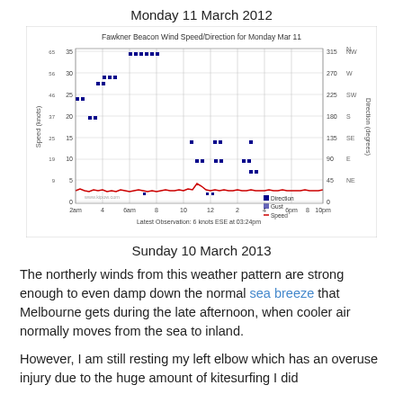Monday 11 March 2012
[Figure (continuous-plot): Fawkner Beacon Wind Speed/Direction for Monday Mar 11 chart showing speed in knots (red line) and direction/gust (blue markers) over the day from 2am to 10pm. Latest Observation: 6 knots ESE at 03:24pm]
Sunday 10 March 2013
The northerly winds from this weather pattern are strong enough to even damp down the normal sea breeze that Melbourne gets during the late afternoon, when cooler air normally moves from the sea to inland.
However, I am still resting my left elbow which has an overuse injury due to the huge amount of kitesurfing I did